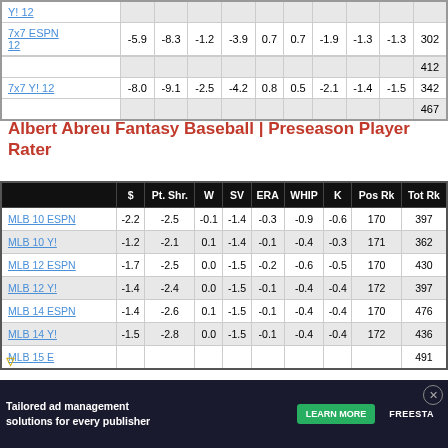|  | $ | Pt. Shr. | W | SV | ERA | WHIP | K | Pos Rk | Tot Rk |
| --- | --- | --- | --- | --- | --- | --- | --- | --- | --- |
| Y! 12 |  |  |  |  |  |  |  |  |  |
| 7x7 ESPN 12 | -5.9 | -8.3 | -1.2 | -3.9 | 0.7 | 0.7 | -1.9 | -1.3 -1.3 | 302 | 412 |
| 7x7 Y! 12 | -8.0 | -9.1 | -2.5 | -4.2 | 0.8 | 0.5 | -2.1 | -1.4 -1.5 | 342 | 467 |
Albert Abreu Fantasy Baseball | Preseason Player Rater
|  | $ | Pt. Shr. | W | SV | ERA | WHIP | K | Pos Rk | Tot Rk |
| --- | --- | --- | --- | --- | --- | --- | --- | --- | --- |
| MLB 10 ESPN | -2.2 | -2.5 | -0.1 | -1.4 | -0.3 | -0.9 | -0.6 | 170 | 397 |
| MLB 10 Y! | -1.2 | -2.1 | 0.1 | -1.4 | -0.1 | -0.4 | -0.3 | 171 | 362 |
| MLB 12 ESPN | -1.7 | -2.5 | 0.0 | -1.5 | -0.2 | -0.6 | -0.5 | 170 | 430 |
| MLB 12 Y! | -1.4 | -2.4 | 0.0 | -1.5 | -0.1 | -0.4 | -0.4 | 172 | 397 |
| MLB 14 ESPN | -1.4 | -2.6 | 0.1 | -1.5 | -0.1 | -0.4 | -0.4 | 170 | 476 |
| MLB 14 Y! | -1.5 | -2.8 | 0.0 | -1.5 | -0.1 | -0.4 | -0.4 | 172 | 436 |
| MLB 15 E | … | … | … | … | … | … | … | … | 491 |